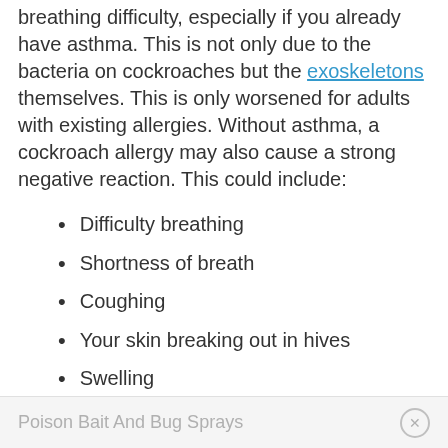breathing difficulty, especially if you already have asthma. This is not only due to the bacteria on cockroaches but the exoskeletons themselves. This is only worsened for adults with existing allergies. Without asthma, a cockroach allergy may also cause a strong negative reaction. This could include:
Difficulty breathing
Shortness of breath
Coughing
Your skin breaking out in hives
Swelling
Poison Bait And Bug Sprays